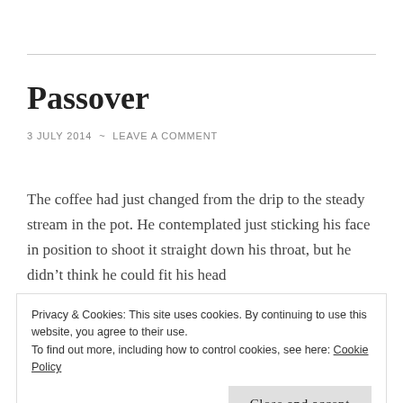Passover
3 JULY 2014  ~  LEAVE A COMMENT
The coffee had just changed from the drip to the steady stream in the pot. He contemplated just sticking his face in position to shoot it straight down his throat, but he didn't think he could fit his head
Privacy & Cookies: This site uses cookies. By continuing to use this website, you agree to their use.
To find out more, including how to control cookies, see here: Cookie Policy
Close and accept
the kitchen. He was proud somehow that the